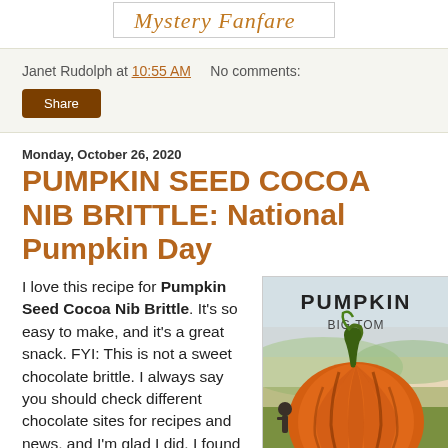[Figure (logo): Cursive blog logo in orange/gold on white background]
Janet Rudolph at 10:55 AM   No comments:
Share
Monday, October 26, 2020
PUMPKIN SEED COCOA NIB BRITTLE: National Pumpkin Day
I love this recipe for Pumpkin Seed Cocoa Nib Brittle. It's so easy to make, and it's a great snack. FYI: This is not a sweet chocolate brittle. I always say you should check different chocolate sites for recipes and news, and I'm glad I did. I found this recipe
[Figure (illustration): Vintage seed packet illustration of a large orange pumpkin labeled PUMPKIN BIG TOM]